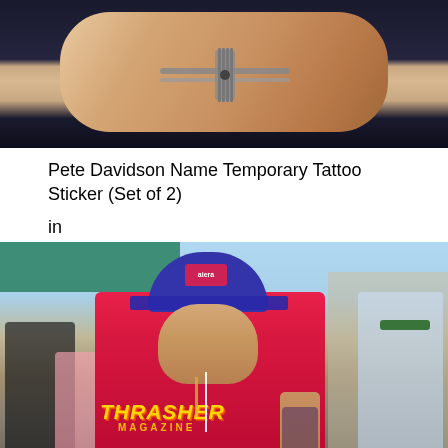[Figure (photo): Close-up photo of a wrist wearing a grey braided/knotted bracelet against a dark background]
Pete Davidson Name Temporary Tattoo Sticker (Set of 2)
in
[Figure (photo): Photo of Pete Davidson walking on a street wearing a pink Thrasher Magazine t-shirt, blue cap, jeans, with tattoos visible on his arm, earbuds in, people visible in background]